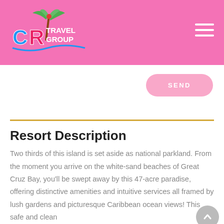CR Travel Group
[Figure (logo): CR Travel Group logo with palm tree graphic, pink header background, and hamburger menu icon]
[Figure (other): SEND button, pink rounded rectangle]
Resort Description
Two thirds of this island is set aside as national parkland. From the moment you arrive on the white-sand beaches of Great Cruz Bay, you'll be swept away by this 47-acre paradise, offering distinctive amenities and intuitive services all framed by lush gardens and picturesque Caribbean ocean views! This safe and clean